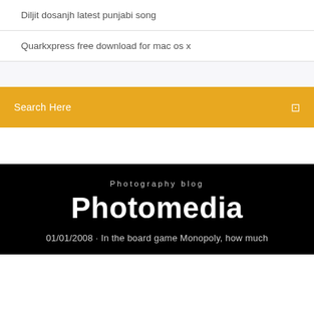Diljit dosanjh latest punjabi song
Quarkxpress free download for mac os x
Search Here
Photography blog
Photomedia
01/01/2008 · In the board game Monopoly, how much